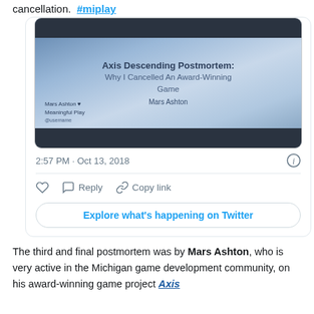cancellation. #miplay
[Figure (screenshot): Screenshot of a Twitter post showing a slide from a presentation titled 'Axis Descending Postmortem: Why I Cancelled An Award-Winning Game' by Mars Ashton, tweeted at 2:57 PM · Oct 13, 2018, with like, reply, and copy link actions, and an 'Explore what's happening on Twitter' button.]
The third and final postmortem was by Mars Ashton, who is very active in the Michigan game development community, on his award-winning game project Axis